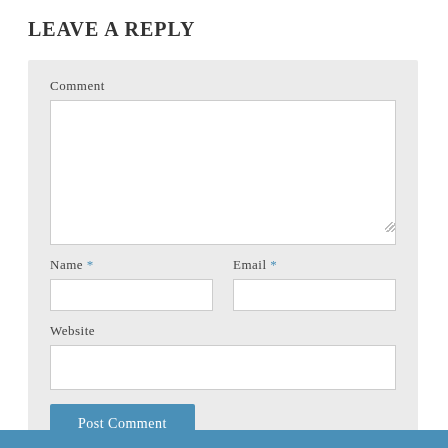LEAVE A REPLY
[Figure (screenshot): Web comment form with fields for Comment (textarea), Name (required), Email (required), Website, and a Post Comment submit button. The form has a light gray background. The submit button is blue with white text.]